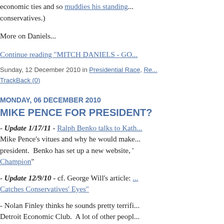economic ties and so muddies his standing with conservatives.)
More on Daniels...
Continue reading "MITCH DANIELS - GO..."
Sunday, 12 December 2010 in Presidential Race, Re... TrackBack (0)
MONDAY, 06 DECEMBER 2010
MIKE PENCE FOR PRESIDENT?
- Update 1/17/11 - Ralph Benko talks to Kath... Mike Pence's vitues and why he would make... president.  Benko has set up a new website, '...Champion'
- Update 12/9/10 - cf. George Will's article: ...Catches Conservatives' Eyes"
- Nolan Finley thinks he sounds pretty terrifi... Detroit Economic Club.  A lot of other peopl... Limbaugh who wrote a column about Pence'... back in September.
"To restore American exceptionalism...